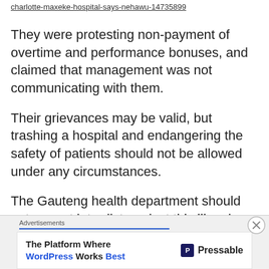charlotte-maxeke-hospital-says-nehawu-14735899
They were protesting non-payment of overtime and performance bonuses, and claimed that management was not communicating with them.
Their grievances may be valid, but trashing a hospital and endangering the safety of patients should not be allowed under any circumstances.
The Gauteng health department should get a court interdict against this illegal action and police should arrest those who act violently, Bloom said.
Advertisements
The Platform Where WordPress Works Best   Pressable